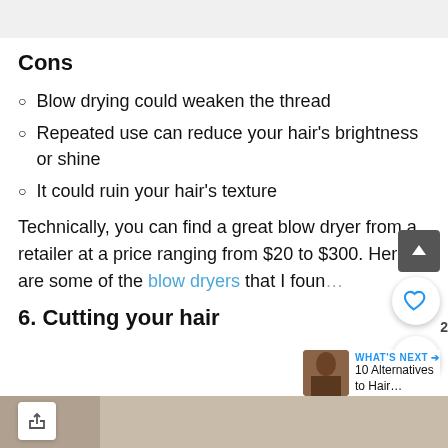Cons
Blow drying could weaken the thread
Repeated use can reduce your hair's brightness or shine
It could ruin your hair's texture
Technically, you can find a great blow dryer from a retailer at a price ranging from $20 to $300. Here are some of the blow dryers that I foun…
6. Cutting your hair